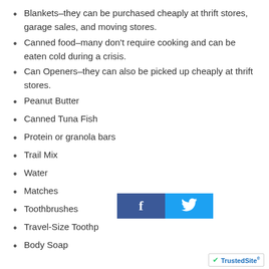Blankets–they can be purchased cheaply at thrift stores, garage sales, and moving stores.
Canned food–many don't require cooking and can be eaten cold during a crisis.
Can Openers–they can also be picked up cheaply at thrift stores.
Peanut Butter
Canned Tuna Fish
Protein or granola bars
Trail Mix
Water
Matches
Toothbrushes
Travel-Size Toothp…
Body Soap